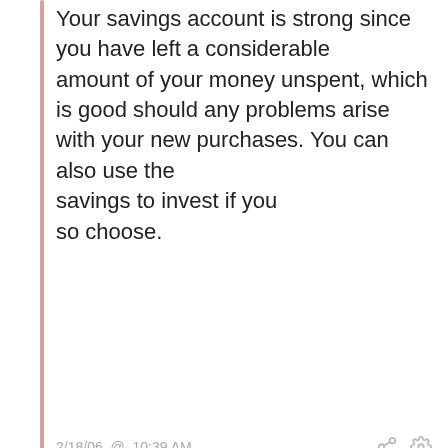Your savings account is strong since you have left a considerable amount of your money unspent, which is good should any problems arise with your new purchases. You can also use the savings to invest if you so choose.
2/18/06 @ 10:39 AM
♥ 0
Kai
Peace....

You spent $960,000.00

You have spent your money well, assuming you